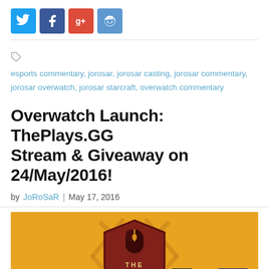[Figure (other): Social media sharing buttons: Twitter (blue), Facebook (dark blue), Google+ (red), Reddit (light blue)]
esports commentary, jorosar, jorosar casting, jorosar commentary, jorosar overwatch, jorosar starcraft, overwatch commentary
Overwatch Launch: ThePlays.GG Stream & Giveaway on 24/May/2016!
by JoRoSaR | May 17, 2016
[Figure (illustration): ThePlays.GG banner image with golden/yellow background featuring a dark red shield logo with a mouse icon and 'THE PLAYS' text in white, with sponsor logos at the bottom: Razer, JWKings, GG Gamer Supps, and Nzn.]